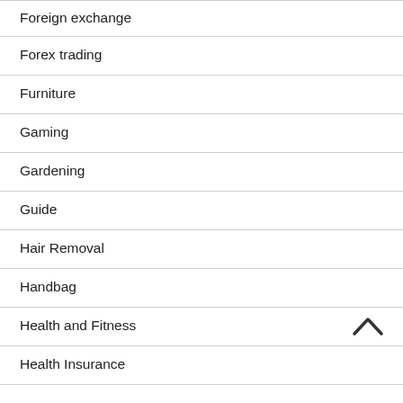Foreign exchange
Forex trading
Furniture
Gaming
Gardening
Guide
Hair Removal
Handbag
Health and Fitness
Health Insurance